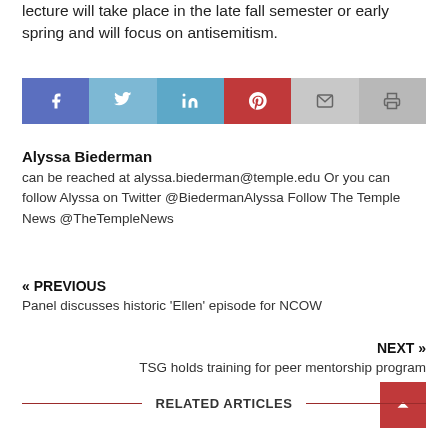lecture will take place in the late fall semester or early spring and will focus on antisemitism.
[Figure (infographic): Social sharing buttons: Facebook (blue), Twitter (light blue), LinkedIn (blue), Pinterest (red), Email (light grey), Print (grey)]
Alyssa Biederman can be reached at alyssa.biederman@temple.edu Or you can follow Alyssa on Twitter @BiedermanAlyssa Follow The Temple News @TheTempleNews
« PREVIOUS
Panel discusses historic 'Ellen' episode for NCOW
NEXT »
TSG holds training for peer mentorship program
RELATED ARTICLES